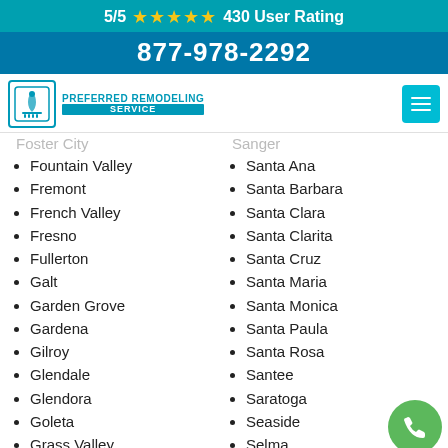5/5 ★★★★★ 430 User Rating
877-978-2292
[Figure (logo): Preferred Remodeling Service logo with shower icon]
Foster City
Fountain Valley
Fremont
French Valley
Fresno
Fullerton
Galt
Garden Grove
Gardena
Gilroy
Glendale
Glendora
Goleta
Grass Valley
Sanger
Santa Ana
Santa Barbara
Santa Clara
Santa Clarita
Santa Cruz
Santa Maria
Santa Monica
Santa Paula
Santa Rosa
Santee
Saratoga
Seaside
Selma